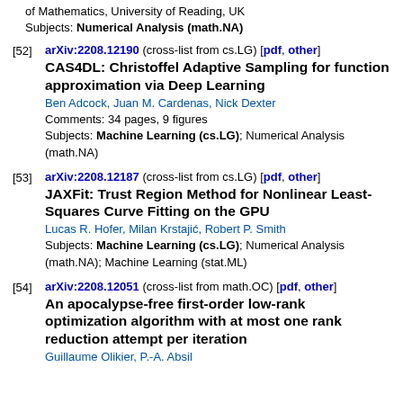of Mathematics, University of Reading, UK
Subjects: Numerical Analysis (math.NA)
[52] arXiv:2208.12190 (cross-list from cs.LG) [pdf, other]
CAS4DL: Christoffel Adaptive Sampling for function approximation via Deep Learning
Ben Adcock, Juan M. Cardenas, Nick Dexter
Comments: 34 pages, 9 figures
Subjects: Machine Learning (cs.LG); Numerical Analysis (math.NA)
[53] arXiv:2208.12187 (cross-list from cs.LG) [pdf, other]
JAXFit: Trust Region Method for Nonlinear Least-Squares Curve Fitting on the GPU
Lucas R. Hofer, Milan Krstajić, Robert P. Smith
Subjects: Machine Learning (cs.LG); Numerical Analysis (math.NA); Machine Learning (stat.ML)
[54] arXiv:2208.12051 (cross-list from math.OC) [pdf, other]
An apocalypse-free first-order low-rank optimization algorithm with at most one rank reduction attempt per iteration
Guillaume Olikier, P.-A. Absil